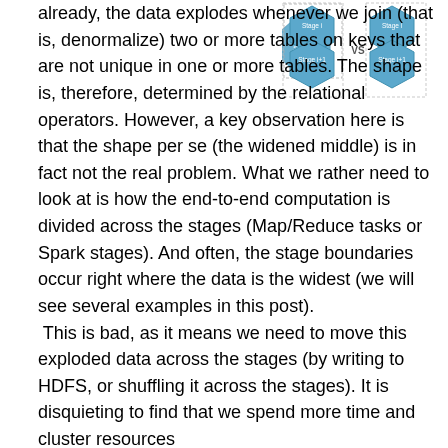[Figure (schematic): Diagram showing two stages side by side labeled 'Stage i' and 'Stage i+1' on the left, and 'Stage i' and 'Stage i+1' on the right, connected with 'VS' in the middle. Blue diamond/hexagon shapes represent data at each stage.]
already, the data explodes whenever we join (that is, denormalize) two or more tables on keys that are not unique in one or more tables. The shape is, therefore, determined by the relational operators. However, a key observation here is that the shape per se (the widened middle) is in fact not the real problem. What we rather need to look at is how the end-to-end computation is divided across the stages (Map/Reduce tasks or Spark stages). And often, the stage boundaries occur right where the data is the widest (we will see several examples in this post). This is bad, as it means we need to move this exploded data across the stages (by writing to HDFS, or shuffling it across the stages). It is disquieting to find that we spend more time and cluster resources